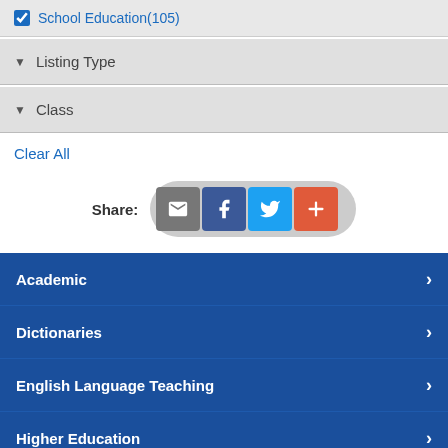School Education(105)
▼ Listing Type
▼ Class
Clear All
[Figure (other): Share buttons row with email, Facebook, Twitter, and plus icons]
Academic
Dictionaries
English Language Teaching
Higher Education